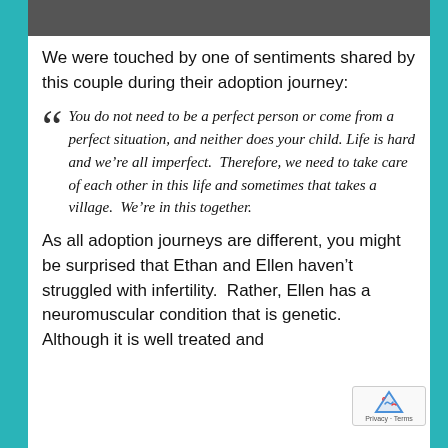[Figure (photo): Partial photo of a couple at the top of the page]
We were touched by one of sentiments shared by this couple during their adoption journey:
You do not need to be a perfect person or come from a perfect situation, and neither does your child. Life is hard and we're all imperfect.  Therefore, we need to take care of each other in this life and sometimes that takes a village.  We're in this together.
As all adoption journeys are different, you might be surprised that Ethan and Ellen haven't struggled with infertility.  Rather, Ellen has a neuromuscular condition that is genetic.  Although it is well treated and